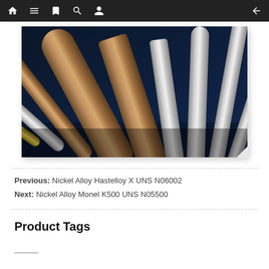[Figure (photo): Multiple metal alloy bars and rods of various shapes (round, hexagonal, square) fanned out on a blue grid surface, showing different metallic finishes]
Previous: Nickel Alloy Hastelloy X UNS N06002
Next: Nickel Alloy Monel K500 UNS N05500
Product Tags